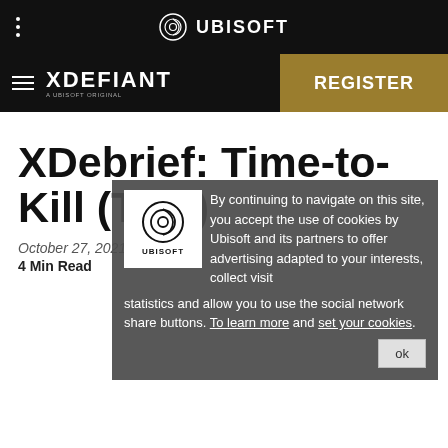UBISOFT
[Figure (logo): Ubisoft logo with circular swirl icon and text UBISOFT in white on black background]
[Figure (logo): XDefiant logo - a Ubisoft Original - white text on black background nav bar with hamburger menu]
[Figure (other): REGISTER button in gold/dark yellow]
XDebrief: Time-to-Kill (TTK)
[Figure (other): Cookie consent overlay with Ubisoft logo. Text: By continuing to navigate on this site, you accept the use of cookies by Ubisoft and its partners to offer advertising adapted to your interests, collect visit statistics and allow you to use the social network share buttons. To learn more and set your cookies. OK button.]
October 27, 2021
4 Min Read